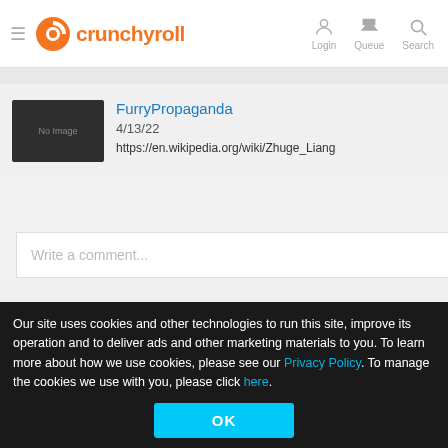crunchyroll — Login, Queue, Search
FurryPropaganda
4/13/22
https://en.wikipedia.org/wiki/Zhuge_Liang
Write a comment...
Popular Shows
Dragon Ball Super
Recommended Article
Our site uses cookies and other technologies to run this site, improve its operation and to deliver ads and other marketing materials to you. To learn more about how we use cookies, please see our Privacy Policy. To manage the cookies we use with you, please click here.
OK